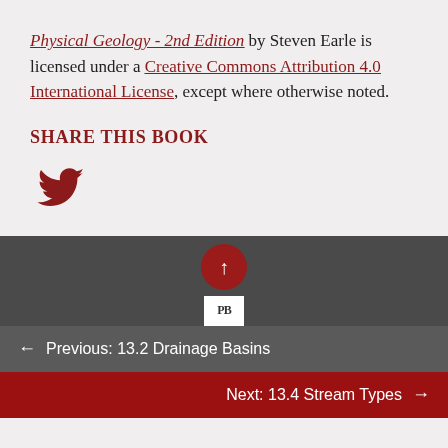Physical Geology - 2nd Edition by Steven Earle is licensed under a Creative Commons Attribution 4.0 International License, except where otherwise noted.
SHARE THIS BOOK
[Figure (illustration): Twitter bird icon in dark red]
[Figure (illustration): Dark grey bar with red circular up-arrow button and white publisher logo at bottom]
← Previous: 13.2 Drainage Basins
Next: 13.4 Stream Types →